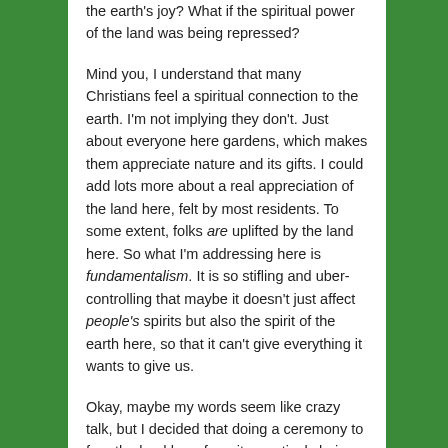the earth's joy? What if the spiritual power of the land was being repressed?
Mind you, I understand that many Christians feel a spiritual connection to the earth. I'm not implying they don't. Just about everyone here gardens, which makes them appreciate nature and its gifts. I could add lots more about a real appreciation of the land here, felt by most residents. To some extent, folks are uplifted by the land here. So what I'm addressing here is fundamentalism. It is so stifling and uber-controlling that maybe it doesn't just affect people's spirits but also the spirit of the earth here, so that it can't give everything it wants to give us.
Okay, maybe my words seem like crazy talk, but I decided that doing a ceremony to free the land here from its mystical chains was not only a great idea, it would also be a fun way to shake my friends and me out of our winter doldrums.
I started to write the ceremony below, to wake the land from and the ceremony below and living that right...